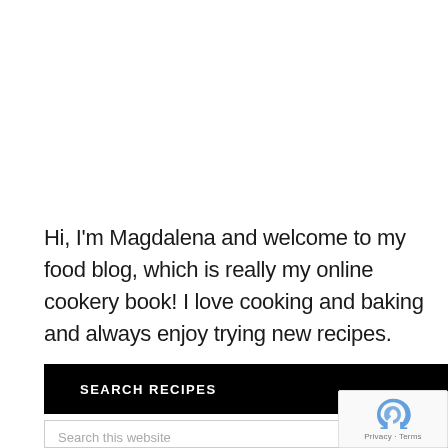Hi, I'm Magdalena and welcome to my food blog, which is really my online cookery book! I love cooking and baking and always enjoy trying new recipes.
SEARCH RECIPES